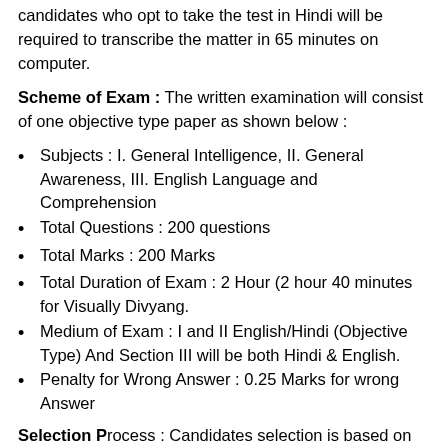candidates who opt to take the test in Hindi will be required to transcribe the matter in 65 minutes on computer.
Scheme of Exam : The written examination will consist of one objective type paper as shown below :
Subjects : I. General Intelligence, II. General Awareness, III. English Language and Comprehension
Total Questions : 200 questions
Total Marks : 200 Marks
Total Duration of Exam : 2 Hour (2 hour 40 minutes for Visually Divyang.
Medium of Exam : I and II English/Hindi (Objective Type) And Section III will be both Hindi & English.
Penalty for Wrong Answer : 0.25 Marks for wrong Answer
Selection Process : Candidates selection is based on...